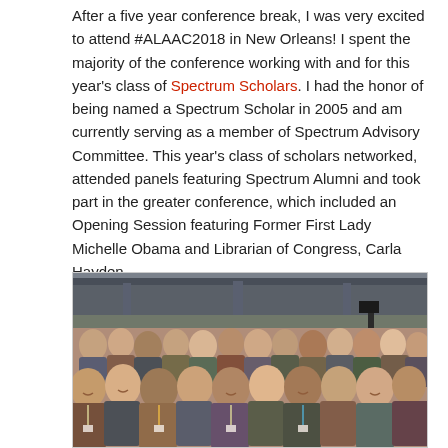After a five year conference break, I was very excited to attend #ALAAC2018 in New Orleans! I spent the majority of the conference working with and for this year's class of Spectrum Scholars. I had the honor of being named a Spectrum Scholar in 2005 and am currently serving as a member of Spectrum Advisory Committee. This year's class of scholars networked, attended panels featuring Spectrum Alumni and took part in the greater conference, which included an Opening Session featuring Former First Lady Michelle Obama and Librarian of Congress, Carla Hayden.
[Figure (photo): A large group photo of conference attendees (Spectrum Scholars and others) at #ALAAC2018 in New Orleans, taken inside a large convention center venue. The crowd is diverse and smiling, with camera equipment visible in the background.]